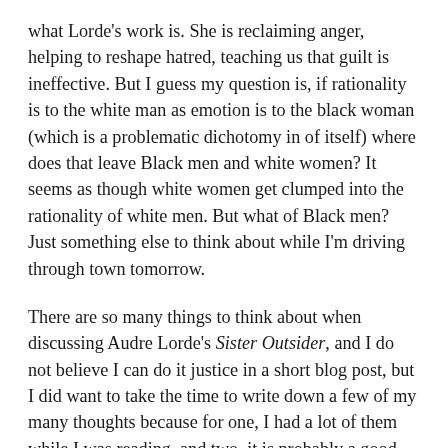what Lorde's work is. She is reclaiming anger, helping to reshape hatred, teaching us that guilt is ineffective. But I guess my question is, if rationality is to the white man as emotion is to the black woman (which is a problematic dichotomy in of itself) where does that leave Black men and white women? It seems as though white women get clumped into the rationality of white men. But what of Black men? Just something else to think about while I'm driving through town tomorrow.
There are so many things to think about when discussing Audre Lorde's Sister Outsider, and I do not believe I can do it justice in a short blog post, but I did want to take the time to write down a few of my many thoughts because for one, I had a lot of them while I was reading, and two, it is probably a good practice to review my books as such as I read them. I probably won't have time to do such an in depth review of every one of my books, but I probably will do this for the important ones, my favorite ones, and the ones which have given me the most